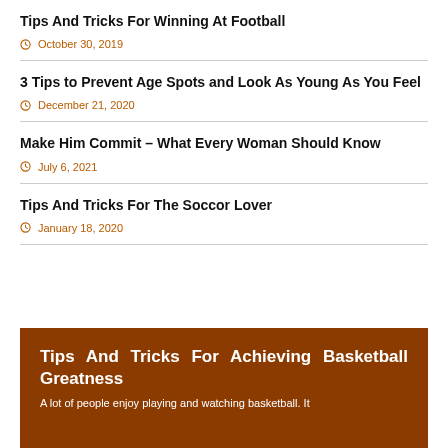Tips And Tricks For Winning At Football
October 30, 2019
3 Tips to Prevent Age Spots and Look As Young As You Feel
December 21, 2020
Make Him Commit – What Every Woman Should Know
July 6, 2021
Tips And Tricks For The Soccor Lover
January 18, 2020
Tips And Tricks For Achieving Basketball Greatness
A lot of people enjoy playing and watching basketball. It